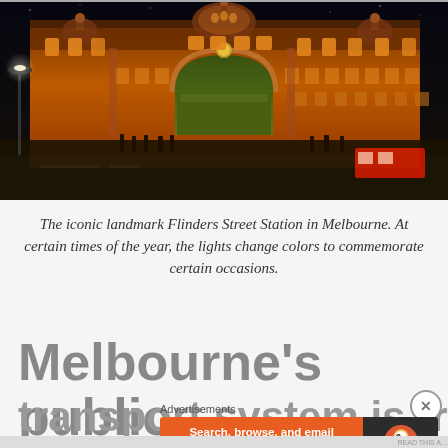[Figure (photo): Night photograph of Flinders Street Station in Melbourne, a historic ornate building illuminated with warm orange/amber lights. The grand facade features a central dome, arched entrance, and Victorian-era architecture. People and trams are visible on the street below.]
The iconic landmark Flinders Street Station in Melbourne. At certain times of the year, the lights change colors to commemorate certain occasions.
Melbourne's public transport system is trains...